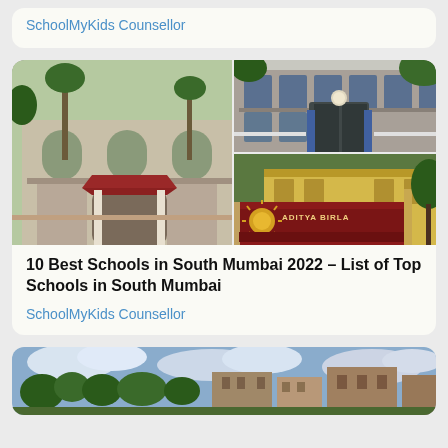SchoolMyKids Counsellor
[Figure (photo): Collage of three school building photos: a large colonial-style school on the left, and two photos on the right showing another school building entrance and an Aditya Birla school signage]
10 Best Schools in South Mumbai 2022 – List of Top Schools in South Mumbai
SchoolMyKids Counsellor
[Figure (photo): Wide photo of a school building with trees in foreground under a cloudy sky, partially visible at bottom of page]